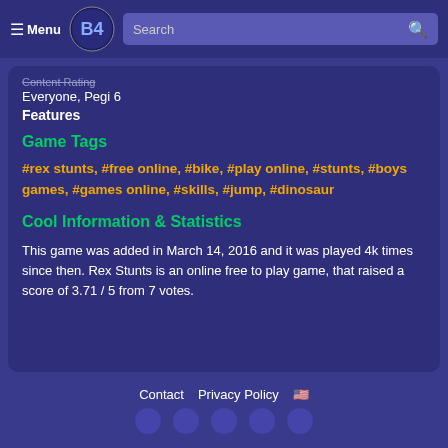≡ Menu | Search
Content Rating
Everyone, Pegi 6
Features
Game Tags
#rex stunts, #free online, #bike, #play online, #stunts, #boys games, #games online, #skills, #jump, #dinosaur
Cool Information & Statistics
This game was added in March 14, 2016 and it was played 4k times since then. Rex Stunts is an online free to play game, that raised a score of 3.71 / 5 from 7 votes.
Contact  Privacy Policy 🇺🇸